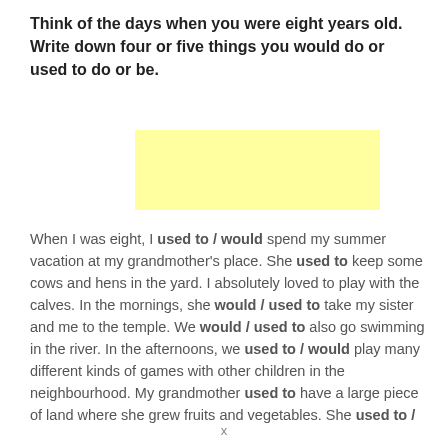Think of the days when you were eight years old. Write down four or five things you would do or used to do or be.
[Figure (other): A blank yellow-highlighted rectangular box for student writing responses.]
When I was eight, I used to / would spend my summer vacation at my grandmother's place. She used to keep some cows and hens in the yard. I absolutely loved to play with the calves. In the mornings, she would / used to take my sister and me to the temple. We would / used to also go swimming in the river. In the afternoons, we used to / would play many different kinds of games with other children in the neighbourhood. My grandmother used to have a large piece of land where she grew fruits and vegetables. She used to /
x